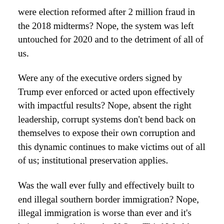were election reformed after 2 million fraud in the 2018 midterms? Nope, the system was left untouched for 2020 and to the detriment of all of us.
Were any of the executive orders signed by Trump ever enforced or acted upon effectively with impactful results? Nope, absent the right leadership, corrupt systems don’t bend back on themselves to expose their own corruption and this dynamic continues to make victims out of all of us; institutional preservation applies.
Was the wall ever fully and effectively built to end illegal southern border immigration? Nope, illegal immigration is worse than ever and it’s being used to deliver the U.S. to Third World status via Cloward-Piven, leaving our nation a shit hole banana republic for all of us.
Has the system ever been fixed? Nope, it’s broken...